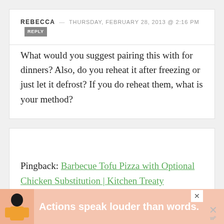REBECCA — THURSDAY, FEBRUARY 28, 2013 @ 2:16 PM  REPLY
What would you suggest pairing this with for dinners? Also, do you reheat it after freezing or just let it defrost? If you do reheat them, what is your method?
Pingback: Barbecue Tofu Pizza with Optional Chicken Substitution | Kitchen Treaty
[Figure (infographic): Advertisement banner at bottom: pink/salmon background with a person figure illustration, bold white text 'Actions speak louder than words.' with close buttons]